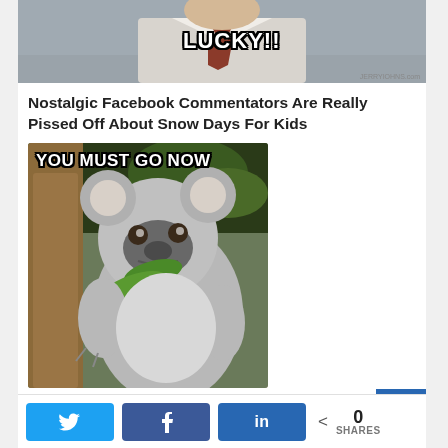[Figure (photo): Meme image of a man in a suit and tie with text 'LUCKY!!' overlaid in bold white Impact font with black outline. Small watermark in bottom right corner.]
Nostalgic Facebook Commentators Are Really Pissed Off About Snow Days For Kids
[Figure (photo): Meme image of a koala bear eating leaves, looking surprised, with text 'YOU MUST GO NOW' overlaid in bold white Impact font with black outline.]
0 SHARES
Share buttons: Twitter, Facebook, LinkedIn